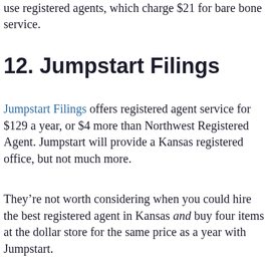use registered agents, which charge $21 for bare bone service.
12. Jumpstart Filings
Jumpstart Filings offers registered agent service for $129 a year, or $4 more than Northwest Registered Agent. Jumpstart will provide a Kansas registered office, but not much more.
They’re not worth considering when you could hire the best registered agent in Kansas and buy four items at the dollar store for the same price as a year with Jumpstart.